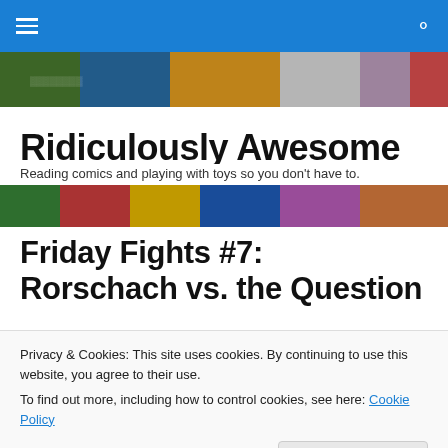Ridiculously Awesome — navigation bar
[Figure (illustration): Comic book characters banner image strip at top]
Ridiculously Awesome
Reading comics and playing with toys so you don't have to.
[Figure (illustration): Comic book characters banner image strip below tagline]
Friday Fights #7: Rorschach vs. the Question
[Figure (illustration): Comic book image showing characters in pink and grey]
Privacy & Cookies: This site uses cookies. By continuing to use this website, you agree to their use.
To find out more, including how to control cookies, see here: Cookie Policy
Close and accept